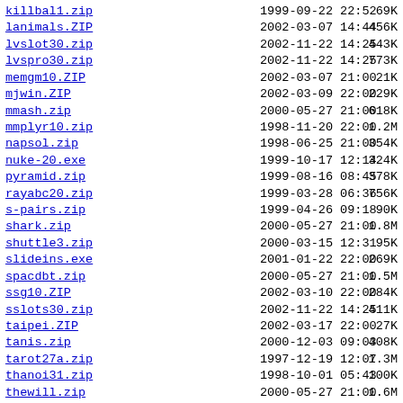killbal1.zip  1999-09-22 22:52   69K
lanimals.ZIP  2002-03-07 14:44  456K
lvslot30.zip  2002-11-22 14:25  443K
lvspro30.zip  2002-11-22 14:25  773K
memgm10.ZIP   2002-03-07 21:00   21K
mjwin.ZIP     2002-03-09 22:00  229K
mmash.zip     2000-05-27 21:00  618K
mmplyr10.zip  1998-11-20 22:00  1.2M
napsol.zip    1998-06-25 21:00  354K
nuke-20.exe   1999-10-17 12:14  324K
pyramid.zip   1999-08-16 08:45  378K
rayabc20.zip  1999-03-28 06:36  756K
s-pairs.zip   1999-04-26 09:18   90K
shark.zip     2000-05-27 21:00  1.8M
shuttle3.zip  2000-03-15 12:31   95K
slideins.exe  2001-01-22 22:00  269K
spacdbt.zip   2000-05-27 21:00  1.5M
ssg10.ZIP     2002-03-10 22:00  284K
sslots30.zip  2002-11-22 14:25  411K
taipei.ZIP    2002-03-17 22:00   27K
tanis.zip     2000-12-03 09:03  408K
tarot27a.zip  1997-12-19 12:07  1.3M
thanoi31.zip  1998-10-01 05:43  100K
thewill.zip   2000-05-27 21:00  1.6M
towers20.ZIP  2002-03-10 22:00   39K
tteach20.ZIP  2002-03-07 14:44  1.4M
tut30.zip     2000-06-01 14:54   13K
tzmgolf3.zip  1998-08-16 21:00  2.5M
ufisle.zip    1999-11-20 22:00  283K
uls3x320.zip  2000-10-18 13:11  527K